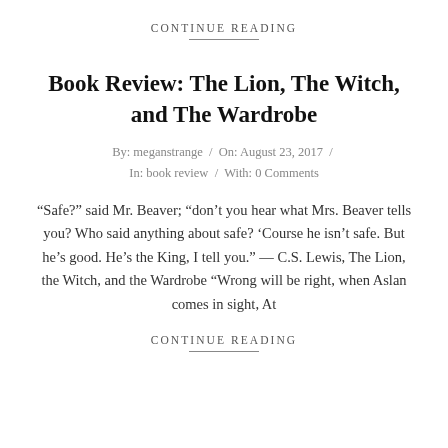CONTINUE READING
Book Review: The Lion, The Witch, and The Wardrobe
By: meganstrange / On: August 23, 2017 / In: book review / With: 0 Comments
“Safe?” said Mr. Beaver; “don’t you hear what Mrs. Beaver tells you? Who said anything about safe? ‘Course he isn’t safe. But he’s good. He’s the King, I tell you.” — C.S. Lewis, The Lion, the Witch, and the Wardrobe “Wrong will be right, when Aslan comes in sight, At
CONTINUE READING